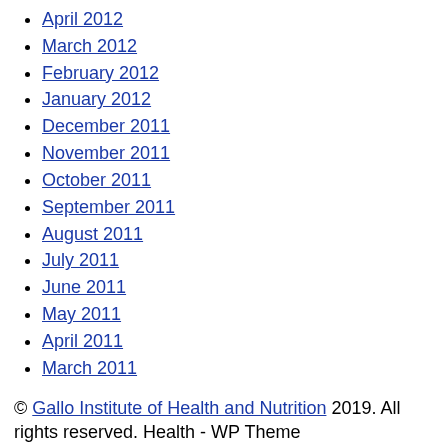April 2012
March 2012
February 2012
January 2012
December 2011
November 2011
October 2011
September 2011
August 2011
July 2011
June 2011
May 2011
April 2011
March 2011
© Gallo Institute of Health and Nutrition 2019. All rights reserved. Health - WP Theme
Disclaimer: All information contained on the GalloInstitute.org website is intended for informational and educational purposes. The information is not intended nor suited to be a replacement or substitute for professional medical treatment or for professional medical advice relative to a specific medical question or condition. We urge you to always seek the advice of your physician or medical professional with respect to your medical condition or